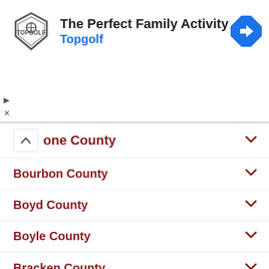[Figure (screenshot): Topgolf advertisement banner with shield logo, headline 'The Perfect Family Activity', subtext 'Topgolf', and a blue navigation icon on the right. Small play and close controls on the left.]
...one County (partially visible, expanded with chevron up)
Bourbon County
Boyd County
Boyle County
Bracken County
Breathitt County
Breckinridge County
Bullitt County
Butler County
Caldwell County